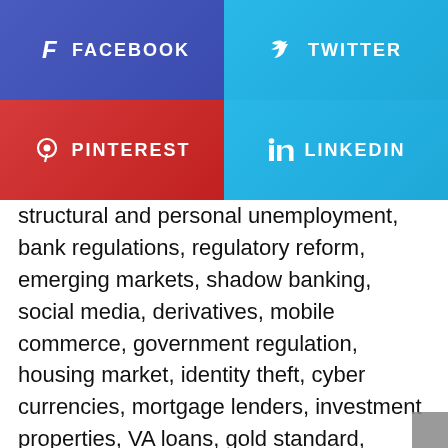[Figure (infographic): Social media share buttons: Facebook (dark blue/purple), Twitter (light blue), Pinterest (red), LinkedIn (light blue), each with icon and label text in white uppercase letters]
structural and personal unemployment, bank regulations, regulatory reform, emerging markets, shadow banking, social media, derivatives, mobile commerce, government regulation, housing market, identity theft, cyber currencies, mortgage lenders, investment properties, VA loans, gold standard, Fannie Mae and Freddie Mac, online auctions, landlord tenant conflicts, tax lien investing, tax law, retirement, contract law, stagflation, home loans, real estate scams, renters, reverse mortgages, foreclosures, euro, European Union, ECB, European Central Bank, the US housing market, micro lending